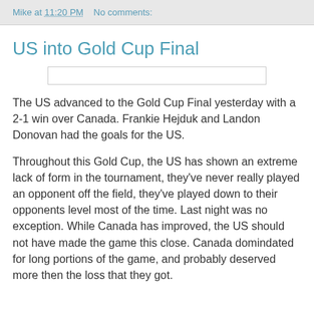Mike at 11:20 PM    No comments:
US into Gold Cup Final
[Figure (other): Placeholder image box, empty white rectangle with border]
The US advanced to the Gold Cup Final yesterday with a 2-1 win over Canada. Frankie Hejduk and Landon Donovan had the goals for the US.
Throughout this Gold Cup, the US has shown an extreme lack of form in the tournament, they've never really played an opponent off the field, they've played down to their opponents level most of the time. Last night was no exception. While Canada has improved, the US should not have made the game this close. Canada domindated for long portions of the game, and probably deserved more then the loss that they got.